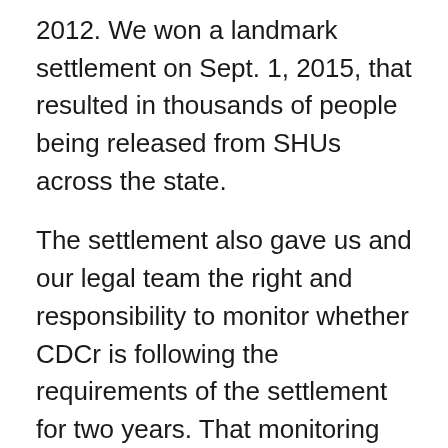2012. We won a landmark settlement on Sept. 1, 2015, that resulted in thousands of people being released from SHUs across the state.
The settlement also gave us and our legal team the right and responsibility to monitor whether CDCr is following the requirements of the settlement for two years. That monitoring period was set to end in 2017, but in January 2019, U.S. Magistrate Judge Illman granted our motion to extend monitoring of the settlement agreement based on ongoing systemic constitutional violations in CDCR’s use of confidential information and in its reliance on past gang validations to deny parole.